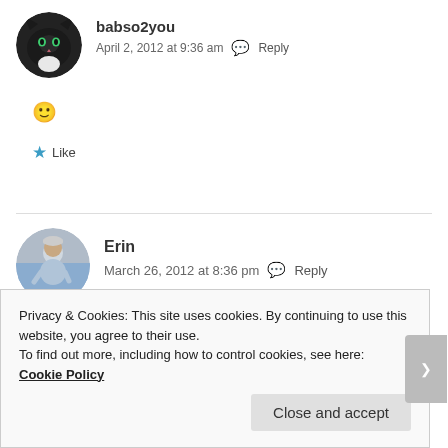[Figure (photo): Circular avatar of a black cat with green eyes]
babso2you
April 2, 2012 at 9:36 am  Reply
🙂
Like
[Figure (photo): Circular avatar of a person in athletic jacket]
Erin
March 26, 2012 at 8:36 pm  Reply
Privacy & Cookies: This site uses cookies. By continuing to use this website, you agree to their use.
To find out more, including how to control cookies, see here: Cookie Policy
Close and accept